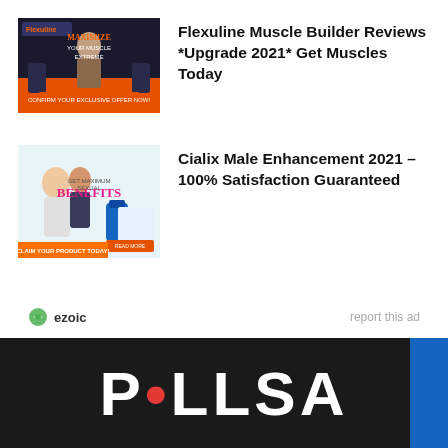[Figure (screenshot): Flexuline Muscle Builder product advertisement image showing a muscular man and supplement bottles on dark background]
Flexuline Muscle Builder Reviews *Upgrade 2021* Get Muscles Today
[Figure (screenshot): Cialix Male Enhancement advertisement image showing a couple and supplement bottle with text 'GET MAXIMUM SEXUAL BENEFITS']
Cialix Male Enhancement 2021 – 100% Satisfaction Guaranteed
ezoic   report this ad
[Figure (logo): Dark footer bar with large white bold text 'PULSA' with a red dot, and a blue rectangle on the right]